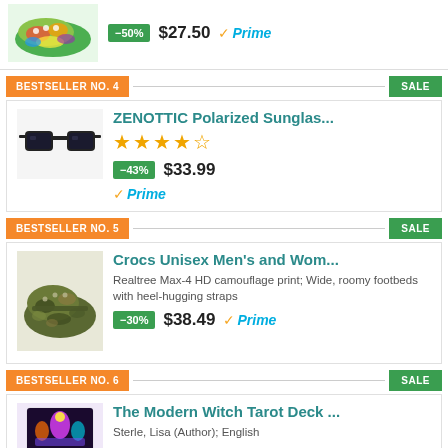[Figure (photo): Partial view of colorful tie-dye Crocs shoe product image with -50% discount badge, $27.50 price, and Prime logo]
BESTSELLER NO. 4 | SALE
ZENOTTIC Polarized Sunglas...
[Figure (photo): Black polarized sunglasses product image]
-43%  $33.99  Prime
BESTSELLER NO. 5 | SALE
Crocs Unisex Men's and Wom...
[Figure (photo): Camouflage Crocs clog shoe in Realtree Max-4 HD camouflage print]
Realtree Max-4 HD camouflage print; Wide, roomy footbeds with heel-hugging straps
-30%  $38.49  Prime
BESTSELLER NO. 6 | SALE
The Modern Witch Tarot Deck ...
[Figure (photo): The Modern Witch Tarot Deck box with colorful illustrated artwork]
Sterle, Lisa (Author); English